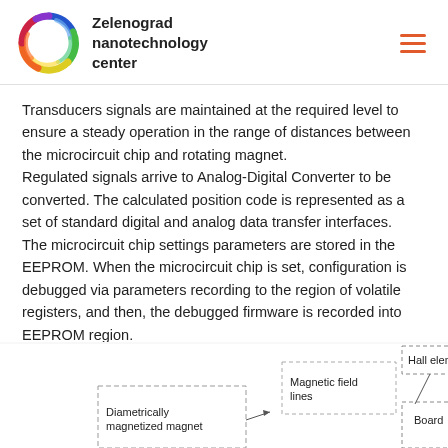Zelenograd nanotechnology center
Transducers signals are maintained at the required level to ensure a steady operation in the range of distances between the microcircuit chip and rotating magnet. Regulated signals arrive to Analog-Digital Converter to be converted. The calculated position code is represented as a set of standard digital and analog data transfer interfaces. The microcircuit chip settings parameters are stored in the EEPROM. When the microcircuit chip is set, configuration is debugged via parameters recording to the region of volatile registers, and then, the debugged firmware is recorded into EEPROM region.
[Figure (schematic): Partial diagram showing Diametrically magnetized magnet, Magnetic field lines, Hall elements, and Board boxes connected in a schematic layout, partially cut off at the bottom of the page.]